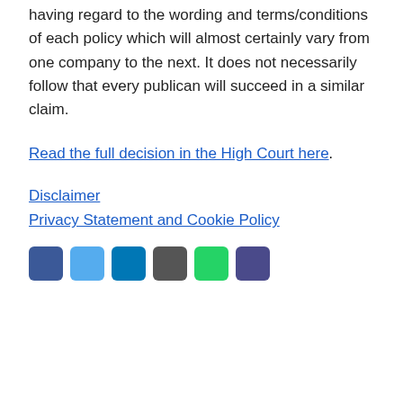having regard to the wording and terms/conditions of each policy which will almost certainly vary from one company to the next. It does not necessarily follow that every publican will succeed in a similar claim.
Read the full decision in the High Court here.
Disclaimer
Privacy Statement and Cookie Policy